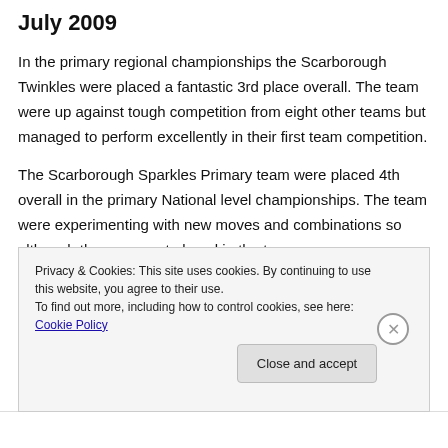July 2009
In the primary regional championships the Scarborough Twinkles were placed a fantastic 3rd place overall. The team were up against tough competition from eight other teams but managed to perform excellently in their first team competition.
The Scarborough Sparkles Primary team were placed 4th overall in the primary National level championships. The team were experimenting with new moves and combinations so although they were not placed in the top
Privacy & Cookies: This site uses cookies. By continuing to use this website, you agree to their use.
To find out more, including how to control cookies, see here: Cookie Policy
Close and accept